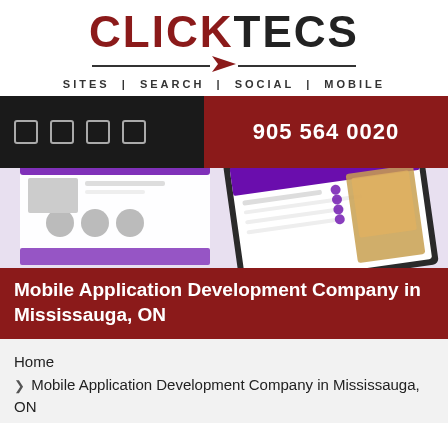[Figure (logo): ClickTecs logo with red CLICK and black TECS text, with tagline SITES | SEARCH | SOCIAL | MOBILE]
[Figure (screenshot): Dark navigation bar with social media icon squares on left and red phone number box '905 564 0020' on right]
[Figure (screenshot): Website/app mockup screenshots showing various web pages on a light purple background]
Mobile Application Development Company in Mississauga, ON
Home
❯ Mobile Application Development Company in Mississauga, ON